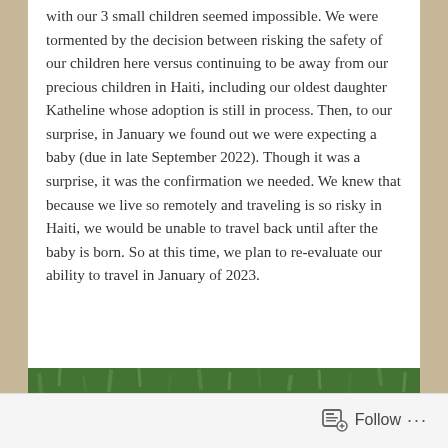with our 3 small children seemed impossible. We were tormented by the decision between risking the safety of our children here versus continuing to be away from our precious children in Haiti, including our oldest daughter Katheline whose adoption is still in process. Then, to our surprise, in January we found out we were expecting a baby (due in late September 2022). Though it was a surprise, it was the confirmation we needed. We knew that because we live so remotely and traveling is so risky in Haiti, we would be unable to travel back until after the baby is born. So at this time, we plan to re-evaluate our ability to travel in January of 2023.
[Figure (photo): A white baby onesie/bodysuit laid on green grass, decorated with blue and yellow star/snowflake shaped confetti pieces]
Follow ...